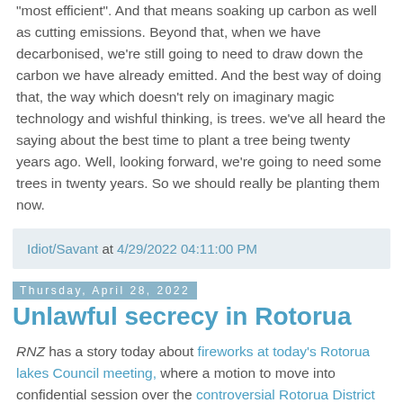"most efficient". And that means soaking up carbon as well as cutting emissions. Beyond that, when we have decarbonised, we're still going to need to draw down the carbon we have already emitted. And the best way of doing that, the way which doesn't rely on imaginary magic technology and wishful thinking, is trees. we've all heard the saying about the best time to plant a tree being twenty years ago. Well, looking forward, we're going to need some trees in twenty years. So we should really be planting them now.
Idiot/Savant at 4/29/2022 04:11:00 PM
Thursday, April 28, 2022
Unlawful secrecy in Rotorua
RNZ has a story today about fireworks at today's Rotorua lakes Council meeting, where a motion to move into confidential session over the controversial Rotorua District Council (Representation Arrangements) Bill caused a councillor to resign. The actual events can be viewed on the